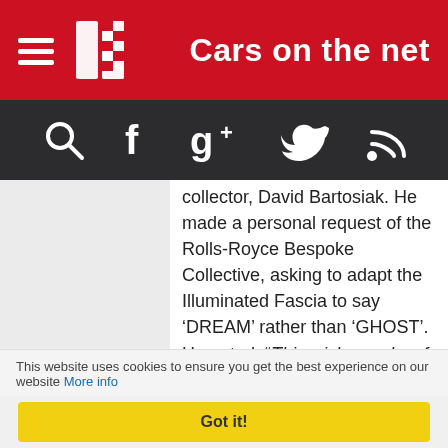Cars on the net
[Figure (screenshot): Dark navigation bar with search, Facebook, Google+, Twitter, and RSS icons in white on dark gray background]
collector, David Bartosiak. He made a personal request of the Rolls-Royce Bespoke Collective, asking to adapt the Illuminated Fascia to say ‘DREAM’ rather than ‘GHOST’. He noted, “This wish speaks of the dream I had as a young boy, born under that beautiful night sky in 1983 in Vero Beach, Florida, the dream I instil in those around me every day, and the dream I hope my spirit carries on to the world when I’m gone.”
This website uses cookies to ensure you get the best experience on our website More info
Got it!
The Starlight Headliner in Mr. Bartosiak’s commission features another very